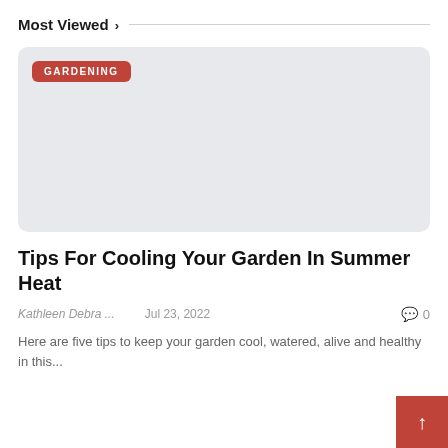Most Viewed >
[Figure (other): Placeholder image card with light gray background and a red 'GARDENING' category badge in the top-left corner]
Tips For Cooling Your Garden In Summer Heat
Kathleen Debra ...    Jul 23, 2022    0
Here are five tips to keep your garden cool, watered, alive and healthy in this...